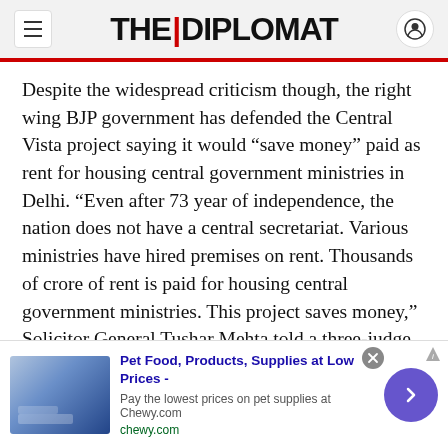THE | DIPLOMAT
Despite the widespread criticism though, the right wing BJP government has defended the Central Vista project saying it would “save money” paid as rent for housing central government ministries in Delhi. “Even after 73 year of independence, the nation does not have a central secretariat. Various ministries have hired premises on rent. Thousands of crore of rent is paid for housing central government ministries. This project saves money,” Solicitor General Tushar Mehta told a three-judge Bench in the High Court last year.
The lack of transparency in awarding the project to
[Figure (infographic): Advertisement banner for Chewy.com pet supplies. Shows text: Pet Food, Products, Supplies at Low Prices - Pay the lowest prices on pet supplies at Chewy.com. chewy.com. With a close button and navigation arrow.]